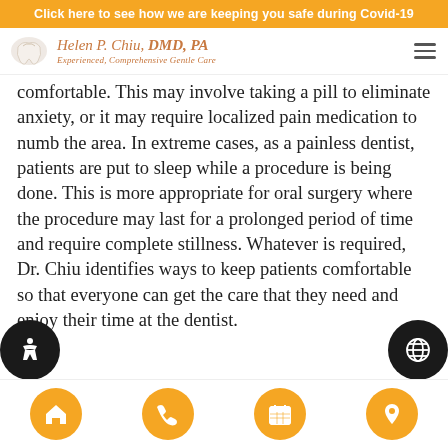Click here to see how we are keeping you safe during Covid-19
[Figure (logo): Helen P. Chiu, DMD, PA dental practice logo with tooth icon and tagline 'Experienced, Comprehensive Gentle Care']
comfortable. This may involve taking a pill to eliminate anxiety, or it may require localized pain medication to numb the area. In extreme cases, as a painless dentist, patients are put to sleep while a procedure is being done. This is more appropriate for oral surgery where the procedure may last for a prolonged period of time and require complete stillness. Whatever is required, Dr. Chiu identifies ways to keep patients comfortable so that everyone can get the care that they need and enjoy their time at the dentist.
[Figure (infographic): Bottom navigation bar with four orange circular buttons: home icon, phone icon, calendar icon, location pin icon]